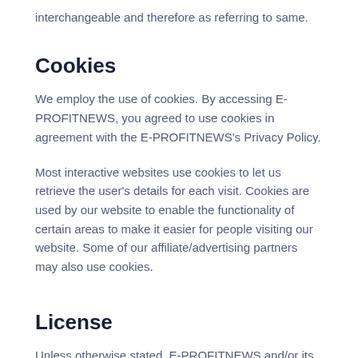interchangeable and therefore as referring to same.
Cookies
We employ the use of cookies. By accessing E-PROFITNEWS, you agreed to use cookies in agreement with the E-PROFITNEWS's Privacy Policy.
Most interactive websites use cookies to let us retrieve the user's details for each visit. Cookies are used by our website to enable the functionality of certain areas to make it easier for people visiting our website. Some of our affiliate/advertising partners may also use cookies.
License
Unless otherwise stated, E-PROFITNEWS and/or its licensors own the intellectual property rights for all material on E-PROFITNEWS. All intellectual property rights are reserved. You may access this from E-